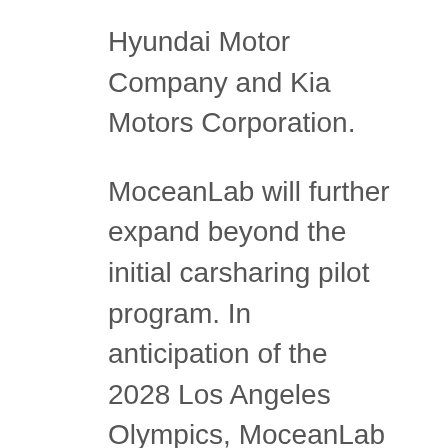Hyundai Motor Company and Kia Motors Corporation.
MoceanLab will further expand beyond the initial carsharing pilot program. In anticipation of the 2028 Los Angeles Olympics, MoceanLab aims to alleviate traffic and increase convenience. Ultimately connecting customers to mass transit options and reduce traffic congestion around the city. This includes services offering autonomous ridesharing, shuttling, multimodal transportation, and personal mobility.
MoceanLab displayed its carsharing and shuttle technology at the 2019 CoMotion LA event. CoMotion LA has given the